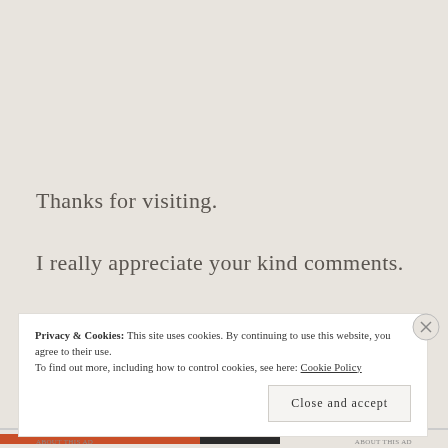Thanks for visiting.
I really appreciate your kind comments.
Happy crafting
Privacy & Cookies: This site uses cookies. By continuing to use this website, you agree to their use. To find out more, including how to control cookies, see here: Cookie Policy
Close and accept